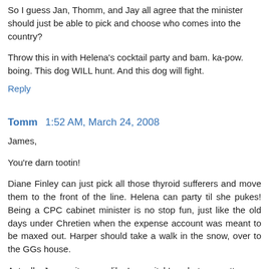So I guess Jan, Thomm, and Jay all agree that the minister should just be able to pick and choose who comes into the country?
Throw this in with Helena's cocktail party and bam. ka-pow. boing. This dog WILL hunt. And this dog will fight.
Reply
Tomm  1:52 AM, March 24, 2008
James,
You're darn tootin!
Diane Finley can just pick all those thyroid sufferers and move them to the front of the line. Helena can party til she pukes! Being a CPC cabinet minister is no stop fun, just like the old days under Chretien when the expense account was meant to be maxed out. Harper should take a walk in the snow, over to the GGs house.
Actually, James, it seems like I can pitch'em, but you gotta